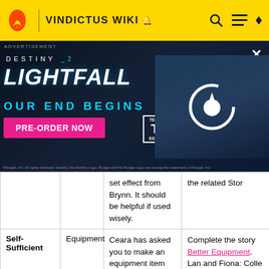VINDICTUS WIKI
[Figure (screenshot): Destiny 2 Lightfall advertisement banner with 'OUR END BEGINS' tagline and PRE-ORDER NOW button]
| Name | Type | Description | How to Unlock |
| --- | --- | --- | --- |
|  |  | set effect from Brynn. It should be helpful if used wisely. | the related Stor |
| Self-Sufficient | Equipment | Ceara has asked you to make an equipment item that is better than the Veteran set. | Complete the story Better Equipment. Lan and Fiona: Colle the Studded Leather Set and show it to Ceara |